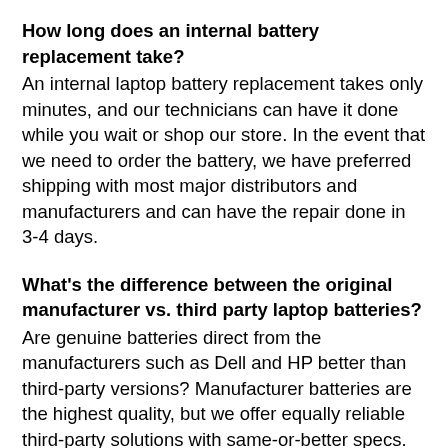How long does an internal battery replacement take?
An internal laptop battery replacement takes only minutes, and our technicians can have it done while you wait or shop our store. In the event that we need to order the battery, we have preferred shipping with most major distributors and manufacturers and can have the repair done in 3-4 days.
What's the difference between the original manufacturer vs. third party laptop batteries?
Are genuine batteries direct from the manufacturers such as Dell and HP better than third-party versions? Manufacturer batteries are the highest quality, but we offer equally reliable third-party solutions with same-or-better specs. Batteries direct from the manufacturer are usually much more expensive than from a third party. We are able to order from both manufacturers and reliable third parties, and our knowledgeable technicians will help you determine which is best for you.